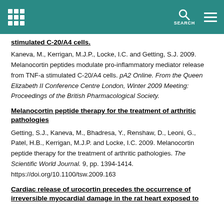SEARCH
stimulated C-20/A4 cells.
Kaneva, M., Kerrigan, M.J.P., Locke, I.C. and Getting, S.J. 2009. Melanocortin peptides modulate pro-inflammatory mediator release from TNF-a stimulated C-20/A4 cells. pA2 Online. From the Queen Elizabeth II Conference Centre London, Winter 2009 Meeting: Proceedings of the British Pharmacological Society.
Melanocortin peptide therapy for the treatment of arthritic pathologies
Getting, S.J., Kaneva, M., Bhadresa, Y., Renshaw, D., Leoni, G., Patel, H.B., Kerrigan, M.J.P. and Locke, I.C. 2009. Melanocortin peptide therapy for the treatment of arthritic pathologies. The Scientific World Journal. 9, pp. 1394-1414. https://doi.org/10.1100/tsw.2009.163
Cardiac release of urocortin precedes the occurrence of irreversible myocardial damage in the rat heart exposed to